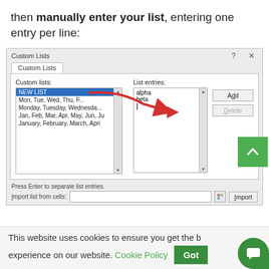then manually enter your list, entering one entry per line:
[Figure (screenshot): Screenshot of Excel Custom Lists dialog box showing NEW LIST selected in the Custom lists panel, with 'alpha' and 'beta' entered in the List entries box, and a red arrow pointing from the list to the entries box. Buttons for Add, Delete shown. Import list from cells field and Import button at the bottom.]
This website uses cookies to ensure you get the best experience on our website. Cookie Policy Got